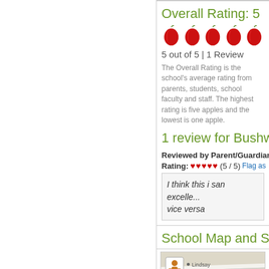Overall Rating: 5
[Figure (illustration): Five red apple icons representing a 5-star rating]
5 out of 5 | 1 Review
The Overall Rating is the school's average rating from parents, students, school faculty and staff. The highest rating is five apples and the lowest is one apple.
1 review for Bushwick
Reviewed by Parent/Guardian
Rating: ♥♥♥♥♥ (5 / 5) Flag as
I think this i san excelle... vice versa
School Map and Si
[Figure (map): Street map showing Lindsay area with person icon, roads, and Pauls Valley label]